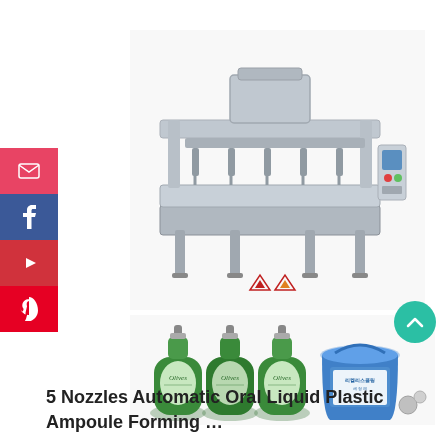[Figure (photo): Industrial automatic liquid filling machine with multiple nozzles on a stainless steel frame, with a control panel on the right side. Brand logo visible at the bottom front.]
[Figure (photo): Three green pump dispenser bottles labeled 'Olives' and a blue bucket container with small metallic components nearby, showing products that the filling machine can handle.]
5 Nozzles Automatic Oral Liquid Plastic Ampoule Forming …